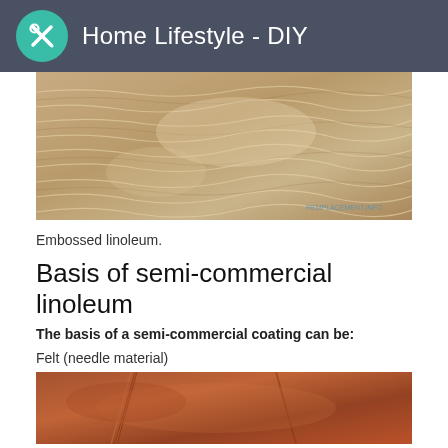Home Lifestyle - DIY
[Figure (photo): Close-up photo of embossed linoleum with wood-grain texture pattern, beige/tan tones]
Embossed linoleum.
Basis of semi-commercial linoleum
The basis of a semi-commercial coating can be:
Felt (needle material)
[Figure (photo): Close-up photo of felt/needle material linoleum backing, orange/brown tones]